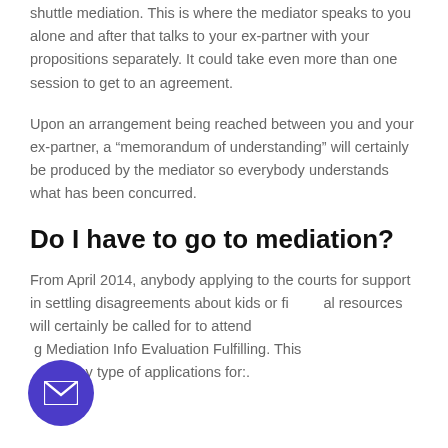shuttle mediation. This is where the mediator speaks to you alone and after that talks to your ex-partner with your propositions separately. It could take even more than one session to get to an agreement.
Upon an arrangement being reached between you and your ex-partner, a “memorandom of understanding” will certainly be produced by the mediator so everybody understands what has been concurred.
Do I have to go to mediation?
From April 2014, anybody applying to the courts for support in settling disagreements about kids or financial resources will certainly be called for to attend a Mediation Info Evaluation Fulfilling. This applies of any type of applications for:.